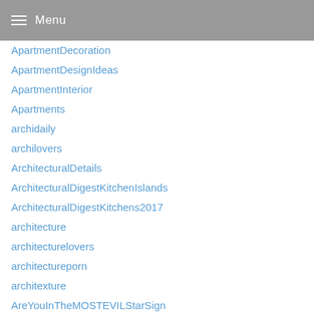Menu
ApartmentDecoration
ApartmentDesignIdeas
ApartmentInterior
Apartments
archidaily
archilovers
ArchitecturalDetails
ArchitecturalDigestKitchenIslands
ArchitecturalDigestKitchens2017
architecture
architecturelovers
architectureporn
architexture
AreYouInTheMOSTEVILStarSign
art
Article
arts